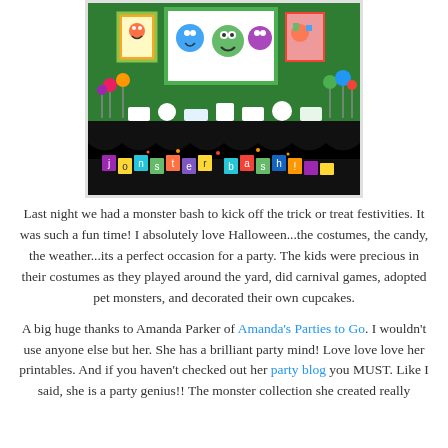[Figure (photo): Photo of a colorful monster-themed party dessert table with banner reading 'monster bash', cartoon monster artwork on the wall, and various treats and decorations on a black table.]
Last night we had a monster bash to kick off the trick or treat festivities. It was such a fun time! I absolutely love Halloween...the costumes, the candy, the weather...its a perfect occasion for a party. The kids were precious in their costumes as they played around the yard, did carnival games, adopted pet monsters, and decorated their own cupcakes.
A big huge thanks to Amanda Parker of Amanda's Parties to Go. I wouldn't use anyone else but her. She has a brilliant party mind! Love love love her printables. And if you haven't checked out her party blog you MUST. Like I said, she is a party genius!! The monster collection she created really brought this party to life. If you haven't seen our monster bash...